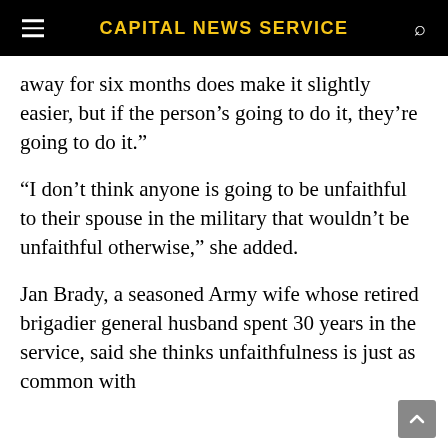CAPITAL NEWS SERVICE
away for six months does make it slightly easier, but if the person’s going to do it, they’re going to do it.”
“I don’t think anyone is going to be unfaithful to their spouse in the military that wouldn’t be unfaithful otherwise,” she added.
Jan Brady, a seasoned Army wife whose retired brigadier general husband spent 30 years in the service, said she thinks unfaithfulness is just as common with civilians as it is with military members, she …